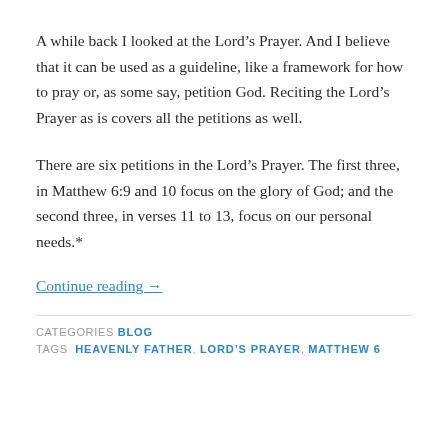A while back I looked at the Lord's Prayer. And I believe that it can be used as a guideline, like a framework for how to pray or, as some say, petition God. Reciting the Lord's Prayer as is covers all the petitions as well.
There are six petitions in the Lord's Prayer. The first three, in Matthew 6:9 and 10 focus on the glory of God; and the second three, in verses 11 to 13, focus on our personal needs.*
Continue reading →
CATEGORIES BLOG
TAGS HEAVENLY FATHER, LORD'S PRAYER, MATTHEW 6